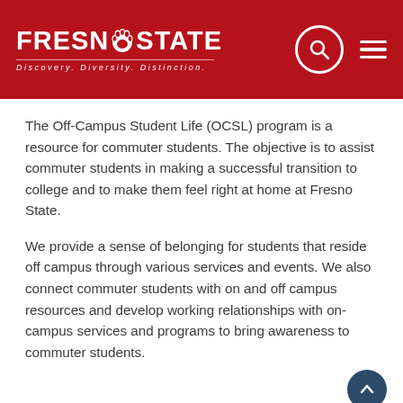[Figure (logo): Fresno State university logo with paw print icon and tagline 'Discovery. Diversity. Distinction.' on red background with search and hamburger menu icons]
The Off-Campus Student Life (OCSL) program is a resource for commuter students. The objective is to assist commuter students in making a successful transition to college and to make them feel right at home at Fresno State.
We provide a sense of belonging for students that reside off campus through various services and events. We also connect commuter students with on and off campus resources and develop working relationships with on-campus services and programs to bring awareness to commuter students.